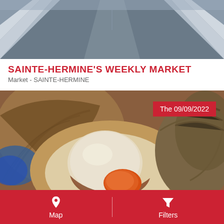[Figure (photo): Aerial or street-level view of a road/plaza with stone or concrete surfaces, viewed from above or at an angle, gray tones]
SAINTE-HERMINE'S WEEKLY MARKET
Market - SAINTE-HERMINE
[Figure (photo): Close-up photo of fresh scallops (coquilles Saint-Jacques) with shells open showing the meat and coral, with a red badge overlay reading 'The 09/09/2022']
Map   Filters